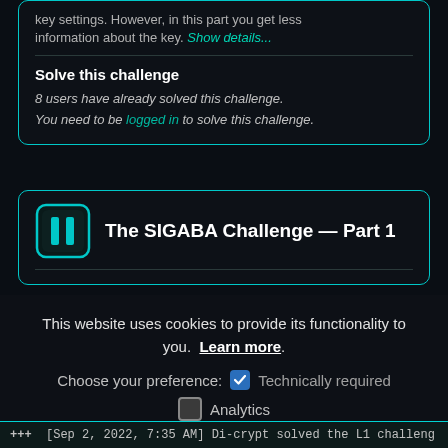key settings. However, in this part you get less information about the key. Show details...
Solve this challenge
8 users have already solved this challenge. You need to be logged in to solve this challenge.
[Figure (screenshot): SIGABA Challenge Part 1 card with teal border and pause-button icon]
The SIGABA Challenge — Part 1
This website uses cookies to provide its functionality to you. Learn more.
Choose your preference: ✓ Technically required  ☐ Analytics
Confirm
+++ [Sep 2, 2022, 7:35 AM] Di-crypt solved the L1 challeng